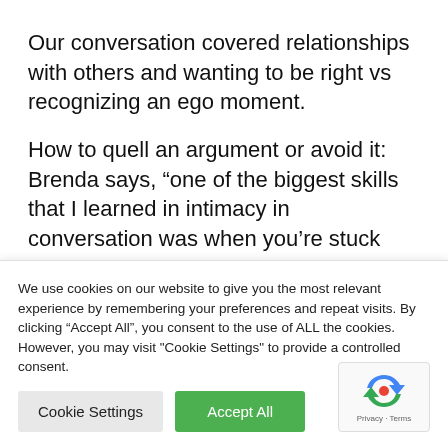Our conversation covered relationships with others and wanting to be right vs recognizing an ego moment.
How to quell an argument or avoid it: Brenda says, “one of the biggest skills that I learned in intimacy in conversation was when you’re stuck
We use cookies on our website to give you the most relevant experience by remembering your preferences and repeat visits. By clicking “Accept All”, you consent to the use of ALL the cookies. However, you may visit "Cookie Settings" to provide a controlled consent.